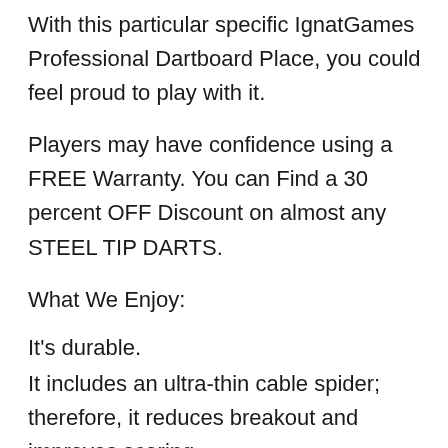With this particular specific IgnatGames Professional Dartboard Place, you could feel proud to play with it.
Players may have confidence using a FREE Warranty. You can Find a 30 percent OFF Discount on almost any STEEL TIP DARTS.
What We Enjoy:
It's durable.
It includes an ultra-thin cable spider; therefore, it reduces breakout and improves scoring.
This dart board is acceptable for both novice &